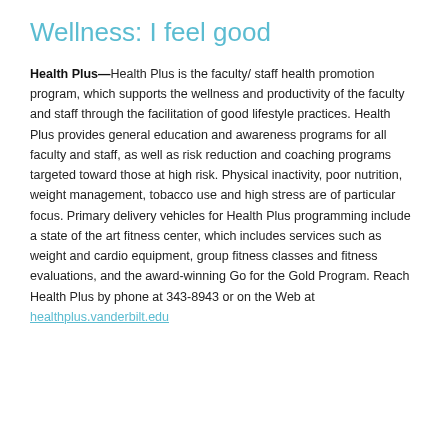Wellness: I feel good
Health Plus—Health Plus is the faculty/ staff health promotion program, which supports the wellness and productivity of the faculty and staff through the facilitation of good lifestyle practices. Health Plus provides general education and awareness programs for all faculty and staff, as well as risk reduction and coaching programs targeted toward those at high risk. Physical inactivity, poor nutrition, weight management, tobacco use and high stress are of particular focus. Primary delivery vehicles for Health Plus programming include a state of the art fitness center, which includes services such as weight and cardio equipment, group fitness classes and fitness evaluations, and the award-winning Go for the Gold Program. Reach Health Plus by phone at 343-8943 or on the Web at healthplus.vanderbilt.edu